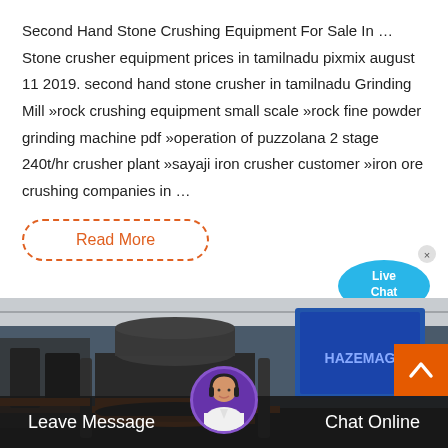Second Hand Stone Crushing Equipment For Sale In … Stone crusher equipment prices in tamilnadu pixmix august 11 2019. second hand stone crusher in tamilnadu Grinding Mill »rock crushing equipment small scale »rock fine powder grinding machine pdf »operation of puzzolana 2 stage 240t/hr crusher plant »sayaji iron crusher customer »iron ore crushing companies in …
Read More
[Figure (photo): Industrial stone crushing machine (cone crusher) displayed at an exhibition or trade show, with orange and dark metal components, shot in an industrial hall with blue display screens visible in background.]
Leave Message
Chat Online